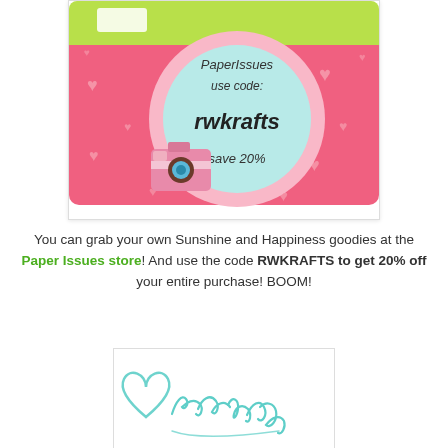[Figure (illustration): A promotional graphic shaped like a retro camera with pink heart pattern background, green top bar, a large circular lens area with light blue fill containing handwritten text 'PaperIssues use code: rwkrafts save 20%', and a small pink vintage camera illustration at bottom left.]
You can grab your own Sunshine and Happiness goodies at the Paper Issues store! And use the code RWKRAFTS to get 20% off your entire purchase! BOOM!
[Figure (illustration): A handwritten cursive signature in teal/mint color that reads 'Rachel' with a heart drawn to the left of it.]